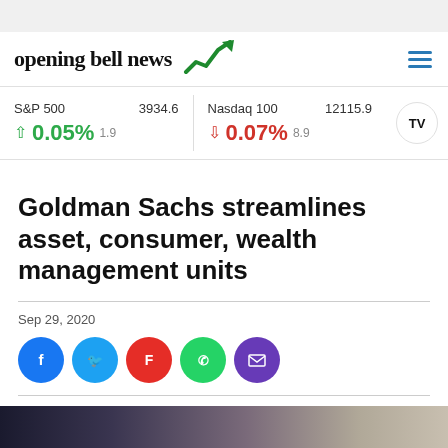opening bell news
S&P 500  3934.6  ▲ 0.05%  1.9  |  Nasdaq 100  12115.9  ▼ 0.07%  8.9
Goldman Sachs streamlines asset, consumer, wealth management units
Sep 29, 2020
[Figure (photo): Photo of person near American flag and building exterior]